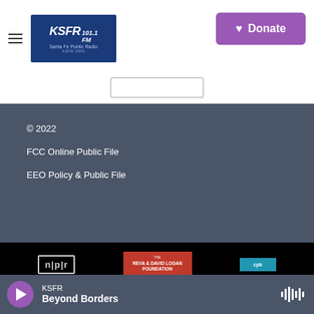[Figure (logo): KSFR 101.1 FM Santa Fe Public Radio logo with hamburger menu icon]
[Figure (other): Purple Donate button with heart icon]
[Figure (other): Partial search bar input box]
© 2022
FCC Online Public File
EEO Policy & Public File
[Figure (logo): NPR logo in outlined box]
[Figure (logo): Reva & David Logan Foundation logo on red background]
[Figure (logo): CPB logo on blue background]
KSFR
Beyond Borders